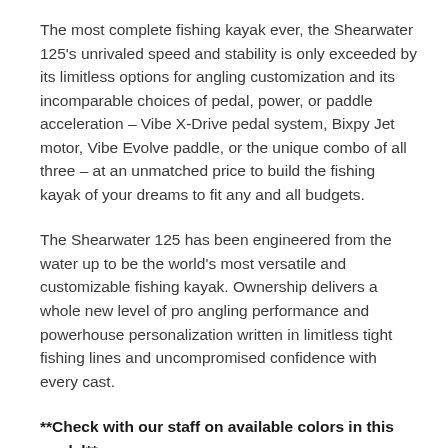The most complete fishing kayak ever, the Shearwater 125's unrivaled speed and stability is only exceeded by its limitless options for angling customization and its incomparable choices of pedal, power, or paddle acceleration – Vibe X-Drive pedal system, Bixpy Jet motor, Vibe Evolve paddle, or the unique combo of all three – at an unmatched price to build the fishing kayak of your dreams to fit any and all budgets.
The Shearwater 125 has been engineered from the water up to be the world's most versatile and customizable fishing kayak. Ownership delivers a whole new level of pro angling performance and powerhouse personalization written in limitless tight fishing lines and uncompromised confidence with every cast.
**Check with our staff on available colors in this model**